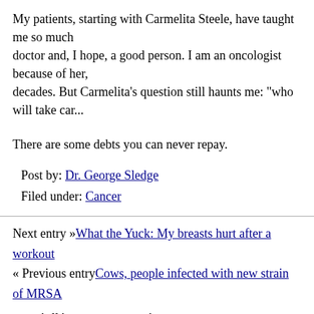My patients, starting with Carmelita Steele, have taught me so much about how to be a good doctor and, I hope, a good person. I am an oncologist because of her, and that debt spans decades. But Carmelita's question still haunts me: "who will take car...
There are some debts you can never repay.
Post by: Dr. George Sledge
Filed under: Cancer
Next entry »What the Yuck: My breasts hurt after a workout
« Previous entryCows, people infected with new strain of MRSA
soundoff (1,353 Responses)
1. nearby rv repair
I blog often and I genuinely thank you for your information. Ye... interest. I'm going to take a note of your site and keep checking... week. I subscribed to your RSS feed as well.
/
May 24, 2021 at 19:44 | Report abuse | Reply
2. truck shop orange county california